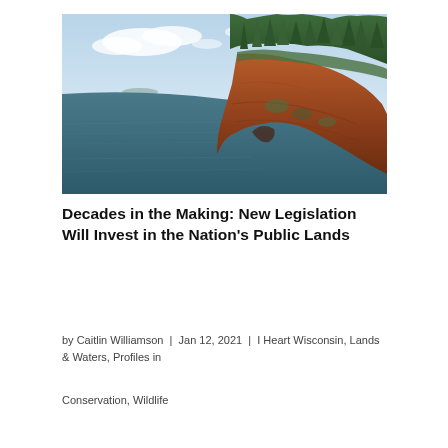[Figure (photo): Scenic landscape photo showing rocky sandstone cliffs with evergreen trees on top, overlooking a large body of water (lake) with a partly cloudy sky. The cliffs have a reddish-orange hue and the water is a deep blue-green.]
Decades in the Making: New Legislation Will Invest in the Nation's Public Lands
by Caitlin Williamson | Jan 12, 2021 | I Heart Wisconsin, Lands & Waters, Profiles in Conservation, Wildlife